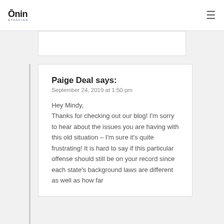Ōnin Staffing
Paige Deal says:
September 24, 2019 at 1:50 pm

Hey Mindy,
Thanks for checking out our blog! I'm sorry to hear about the issues you are having with this old situation – I'm sure it's quite frustrating! It is hard to say if this particular offense should still be on your record since each state's background laws are different as well as how far